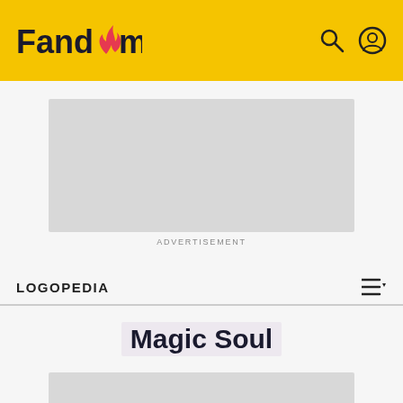Fandom
[Figure (screenshot): Advertisement placeholder box (gray rectangle)]
ADVERTISEMENT
LOGOPEDIA
Magic Soul
[Figure (photo): Image placeholder box (gray rectangle) at bottom of page]